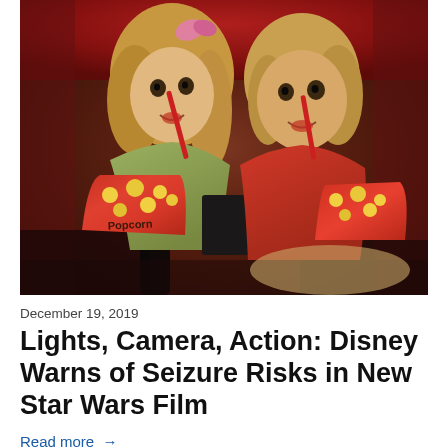[Figure (photo): Two children sitting in red cinema seats watching a movie, each holding large popcorn buckets and eating candy. The girl on the left has blonde hair and a green top; the boy on the right wears a red shirt. They both look wide-eyed at something off-screen.]
December 19, 2019
Lights, Camera, Action: Disney Warns of Seizure Risks in New Star Wars Film
Read more →
[Figure (photo): Partial view of another article's photo at the bottom of the page — bottom strip showing warm orange/gold tones.]